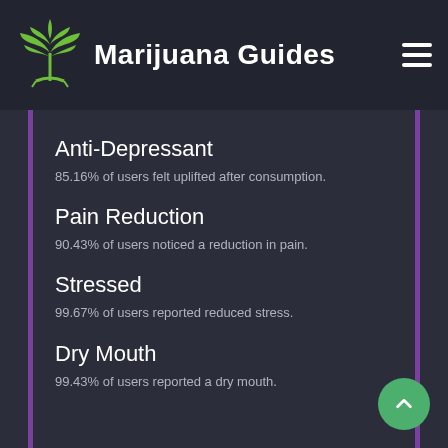Marijuana Guides
Anti-Depressant
85.16% of users felt uplifted after consumption.
Pain Reduction
90.43% of users noticed a reduction in pain.
Stressed
99.67% of users reported reduced stress.
Dry Mouth
99.43% of users reported a dry mouth.